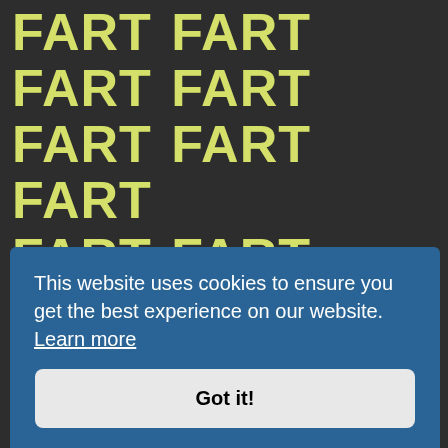FART FART FART FART FART FART FART FART FART FART FART FART FART FART FART FART FART FART FART FART FART FART FART FART FART FART FART FART FART FART FART FART FART FART FART FART FART FART FART FART
This website uses cookies to ensure you get the best experience on our website. Learn more
Got it!